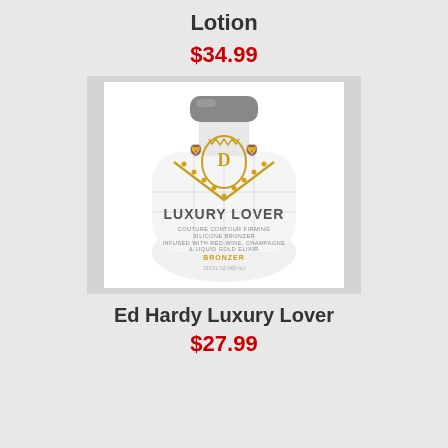Lotion
$34.99
[Figure (photo): White lotion bottle with gold crest logo labeled 'Luxury Lover' with grey cap, Ed Hardy brand product]
Ed Hardy Luxury Lover
$27.99